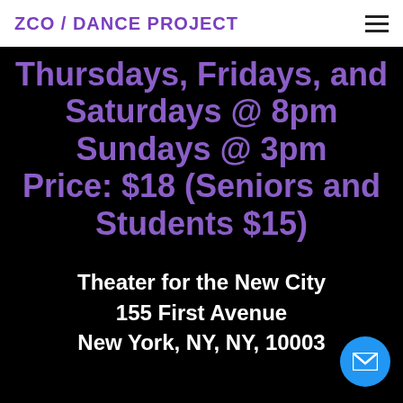ZCO / DANCE PROJECT
Thursdays, Fridays, and Saturdays @ 8pm Sundays @ 3pm Price: $18 (Seniors and Students $15)
Theater for the New City
155 First Avenue
New York, NY, NY, 10003